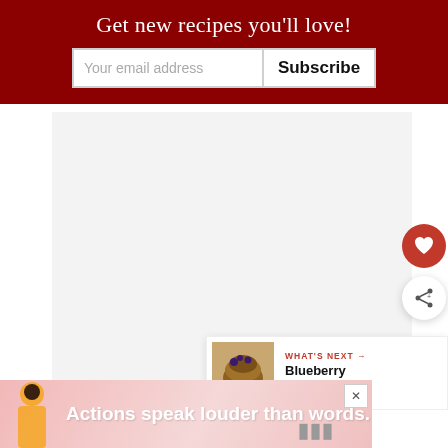Get new recipes you’ll love!
Your email address
Subscribe
[Figure (photo): Large recipe photo placeholder (light gray box)]
[Figure (illustration): Red circular heart/favorite button]
[Figure (illustration): White circular share button]
[Figure (photo): WHAT'S NEXT card with blueberry chocolate item thumbnail]
WHAT’S NEXT →
Blueberry Chocolate...
[Figure (infographic): Advertisement banner: Actions speak louder than words, with person figure and brand logo]